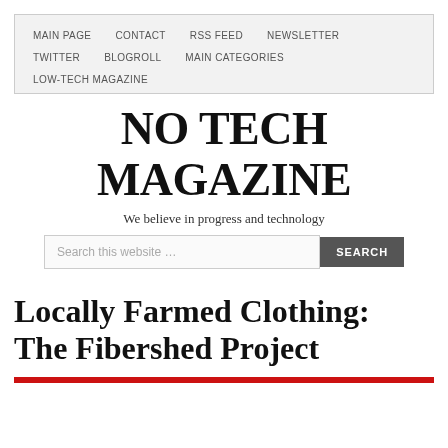MAIN PAGE   CONTACT   RSS FEED   NEWSLETTER   TWITTER   BLOGROLL   MAIN CATEGORIES   LOW-TECH MAGAZINE
NO TECH MAGAZINE
We believe in progress and technology
Search this website …
Locally Farmed Clothing: The Fibershed Project